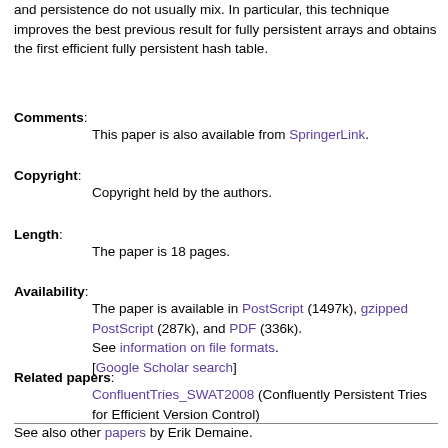and persistence do not usually mix. In particular, this technique improves the best previous result for fully persistent arrays and obtains the first efficient fully persistent hash table.
Comments: This paper is also available from SpringerLink.
Copyright: Copyright held by the authors.
Length: The paper is 18 pages.
Availability: The paper is available in PostScript (1497k), gzipped PostScript (287k), and PDF (336k). See information on file formats. [Google Scholar search]
Related papers: ConfluentTries_SWAT2008 (Confluently Persistent Tries for Efficient Version Control)
See also other papers by Erik Demaine.